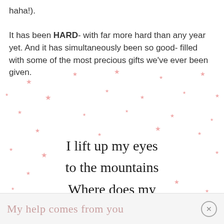haha!). It has been HARD- with far more hard than any year yet. And it has simultaneously been so good- filled with some of the most precious gifts we've ever been given.
[Figure (illustration): Decorative background with scattered pink star shapes of varying sizes arranged in a scattered pattern across the middle section of the page.]
I lift up my eyes to the mountains Where does my help come from?
My help comes from you